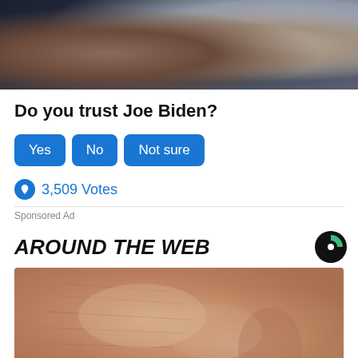[Figure (photo): Close-up photo of a man's face (Joe Biden) at a public event, with other people visible in background]
Do you trust Joe Biden?
Yes | No | Not sure
3,509 Votes
Sponsored Ad
AROUND THE WEB
[Figure (photo): Close-up photo of wrinkled skin on an elderly person's face/nose area]